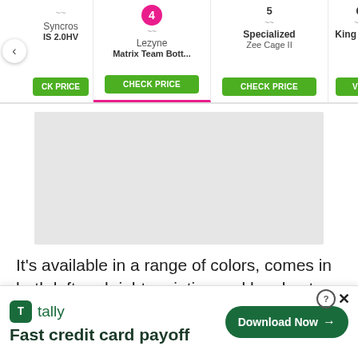[Figure (screenshot): Product comparison carousel showing numbered items: Syncros IS 2.0HV (left-clipped), #4 Lezyne Matrix Team Bott... (active/selected with pink underline), #5 Specialized Zee Cage II, #6 King Cage (right-clipped). Each has a green CHECK PRICE button. Left and right navigation arrows are visible.]
[Figure (other): Gray advertisement placeholder rectangle]
It’s available in a range of colors, comes in both left and right varieties and has kept bottles attached to this writer’s XC bike for years.
[Figure (photo): Partial photo of a metallic wire bottle cage hook/wire element against white background]
[Figure (screenshot): Bottom advertisement banner for Tally app: Tally logo with green icon, text 'Fast credit card payoff', and a green 'Download Now' button with arrow. Close/help icons in top right corner.]